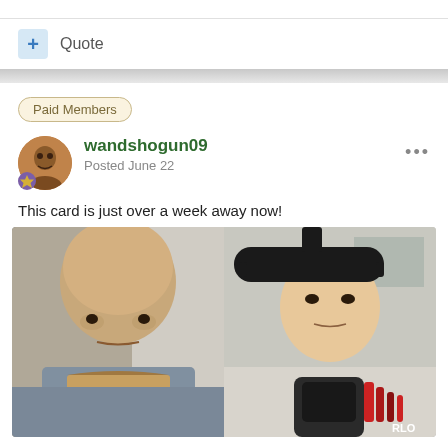+ Quote
Paid Members
wandshogun09
Posted June 22
This card is just over a week away now!
[Figure (photo): Two-panel image: left panel shows a bald man eating something, right panel shows a man wearing headphones in front of a microphone]